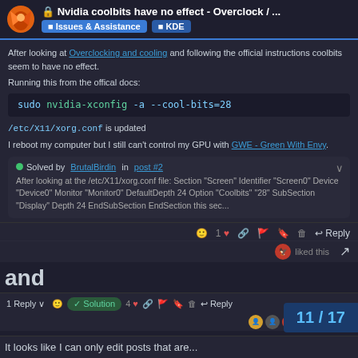Nvidia coolbits have no effect - Overclock / ... | Issues & Assistance | KDE
After looking at Overclocking and cooling and following the official instructions coolbits seem to have no effect.
Running this from the offical docs:
sudo nvidia-xconfig -a --cool-bits=28
/etc/X11/xorg.conf is updated
I reboot my computer but I still can't control my GPU with GWE - Green With Envy.
Solved by BrutalBirdin in post #2
After looking at the /etc/X11/xorg.conf file: Section "Screen" Identifier "Screen0" Device "Device0" Monitor "Monitor0" DefaultDepth 24 Option "Coolbits" "28" SubSection "Display" Depth 24 EndSubSection EndSection this sec...
liked this
and
1 Reply  Solution  4  liked this
11 / 17
It looks like I can only edit posts that are...